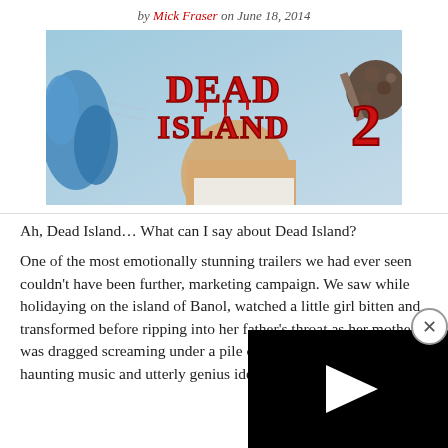by Mick Fraser on June 18, 2014
[Figure (photo): Dead Island 2 game cover art showing a muscular man wielding a spiked weapon with the game title in large red letters]
Ah, Dead Island… What can I say about Dead Island?

One of the most emotionally stunning trailers we had ever seen couldn't have been further, marketing campaign. We saw while holidaying on the island of Banol, watched a little girl bitten and transformed before ripping into her father's throat as her mother was dragged screaming under a pile of ravenous zombies. The haunting music and utterly genius idea to play the